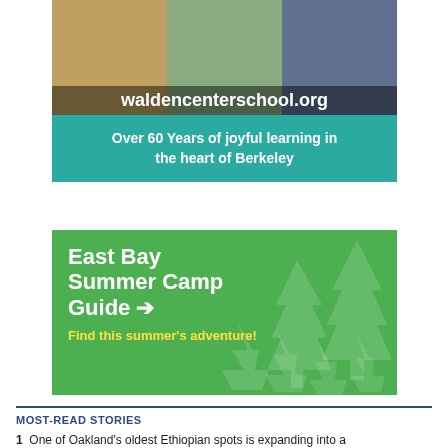[Figure (photo): Advertisement for Walden Center School showing children learning, with URL waldencenterschool.org and tagline 'Over 60 Years of joyful learning in the heart of Berkeley' on teal background]
[Figure (infographic): East Bay Summer Camp Guide advertisement with green background, tree silhouettes, white bold title text 'East Bay Summer Camp Guide' with arrow icon, and yellow subtitle 'Find this summer's adventure!']
MOST-READ STORIES
1  One of Oakland's oldest Ethiopian spots is expanding into a new...